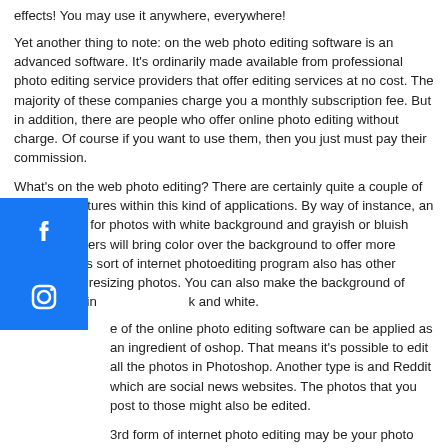effects! You may use it anywhere, everywhere!
Yet another thing to note: on the web photo editing software is an advanced software. It's ordinarily made available from professional photo editing service providers that offer editing services at no cost. The majority of these companies charge you a monthly subscription fee. But in addition, there are people who offer online photo editing without charge. Of course if you want to use them, then you just must pay their commission.
What's on the web photo editing? There are certainly quite a couple of standard features within this kind of applications. By way of instance, an image editor for photos with white background and grayish or bluish grey wallpapers will bring color over the background to offer more contrast. This sort of internet photoediting program also has other features like resizing photos. You can also make the background of your photos in k and white.
[Figure (logo): Facebook social media icon - blue square with white Facebook 'f' logo]
[Figure (logo): Instagram social media icon - blue square with white Instagram camera logo]
e of the online photo editing software can be applied as an ingredient of oshop. That means it's possible to edit all the photos in Photoshop. Another type is and Reddit which are social news websites. The photos that you post to those might also be edited.
3rd form of internet photo editing may be your photo collage by which a succession of photographs are arranged at a category and subsequently altered. This type of photo editing program can also be utilized for a collage making. This sort of online photoediting is similar to Photoshop. The fourth form of photoediting may be your tattoo photo editing where tattoos have been implemented to a photo.
The fifth kind of online photoediting is the image manipulator, that will be utilized to create pictures stretch or move. This sort of internet photoediting software is useful for several special results or photo manipulation. This could be really definitely efeitos para fotos photoshop probably the most used online photo editing applications in the business. Some of the pictures such as paintings are all made using this type of internet photoediting program.
There are many more on the web photo editing tools offered in the market for free